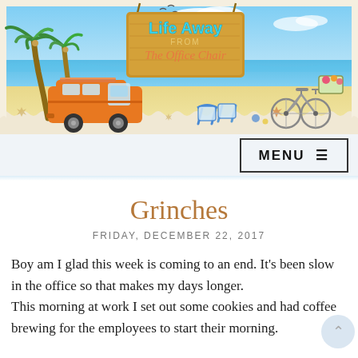[Figure (illustration): Blog header banner for 'Life Away From The Office Chair' featuring a tropical beach scene with palm trees, an orange VW camper van, beach chairs, a bicycle, ocean, sky, and a wooden sign with the blog title.]
MENU ☰
Grinches
FRIDAY, DECEMBER 22, 2017
Boy am I glad this week is coming to an end. It's been slow in the office so that makes my days longer.
This morning at work I set out some cookies and had coffee brewing for the employees to start their morning.